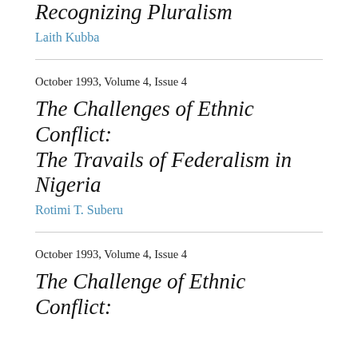Recognizing Pluralism
Laith Kubba
October 1993, Volume 4, Issue 4
The Challenges of Ethnic Conflict: The Travails of Federalism in Nigeria
Rotimi T. Suberu
October 1993, Volume 4, Issue 4
The Challenge of Ethnic Conflict: